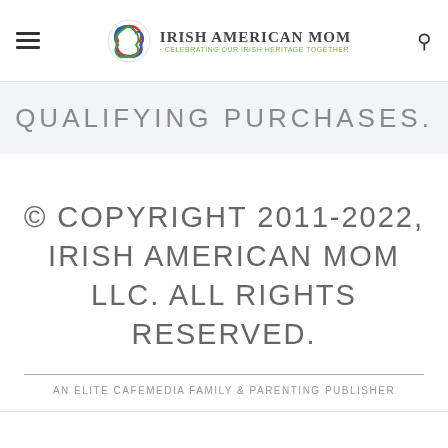Irish American Mom - Celebrating Our Irish Heritage Together
QUALIFYING PURCHASES.
© COPYRIGHT 2011-2022, IRISH AMERICAN MOM LLC. ALL RIGHTS RESERVED.
AN ELITE CAFEMEDIA FAMILY & PARENTING PUBLISHER